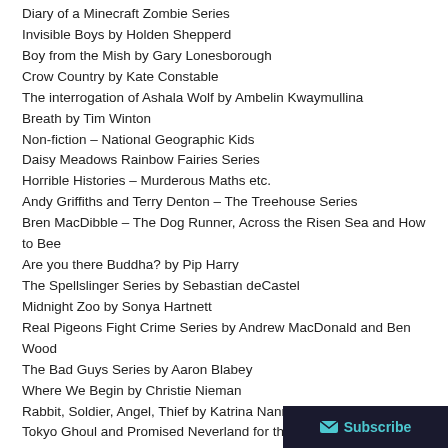Diary of a Minecraft Zombie Series
Invisible Boys by Holden Shepperd
Boy from the Mish by Gary Lonesborough
Crow Country by Kate Constable
The interrogation of Ashala Wolf by Ambelin Kwaymullina
Breath by Tim Winton
Non-fiction – National Geographic Kids
Daisy Meadows Rainbow Fairies Series
Horrible Histories – Murderous Maths etc.
Andy Griffiths and Terry Denton – The Treehouse Series
Bren MacDibble – The Dog Runner, Across the Risen Sea and How to Bee
Are you there Buddha? by Pip Harry
The Spellslinger Series by Sebastian deCastel
Midnight Zoo by Sonya Hartnett
Real Pigeons Fight Crime Series by Andrew MacDonald and Ben Wood
The Bad Guys Series by Aaron Blabey
Where We Begin by Christie Nieman
Rabbit, Soldier, Angel, Thief by Katrina Nannestad
Tokyo Ghoul and Promised Neverland for the manga
Kingdom of Silk series by Glenda Millard's